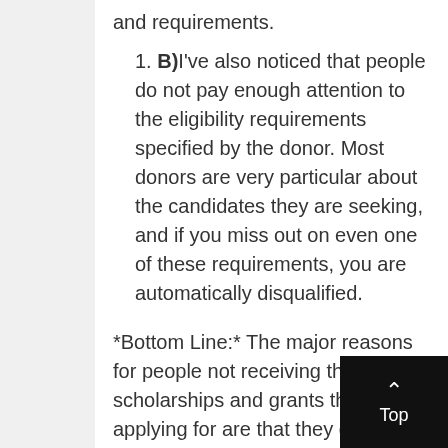and requirements.
1. B) I've also noticed that people do not pay enough attention to the eligibility requirements specified by the donor. Most donors are very particular about the candidates they are seeking, and if you miss out on even one of these requirements, you are automatically disqualified.
*Bottom Line:* The major reasons for people not receiving the scholarships and grants they are applying for are that they do not customize their applications to fit